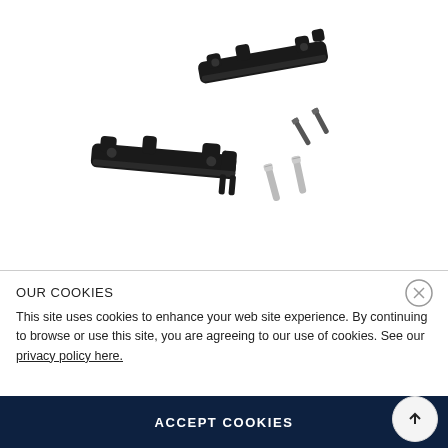[Figure (photo): Product photo showing two black plastic bracket/hinge parts and four small metal screws on a white background]
OUR COOKIES
This site uses cookies to enhance your web site experience. By continuing to browse or use this site, you are agreeing to our use of cookies. See our privacy policy here.
ACCEPT COOKIES